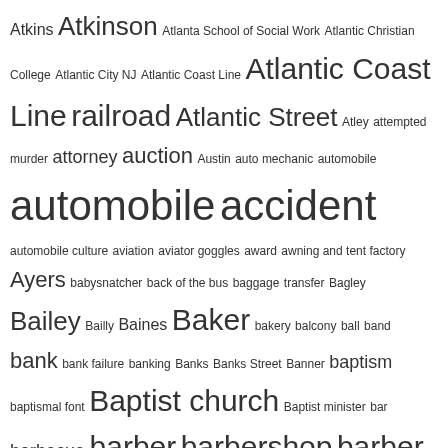[Figure (other): Tag cloud / word cloud showing index terms in varying font sizes indicating frequency. Terms include: Atkins, Atkinson, Atlanta School of Social Work, Atlantic Christian College, Atlantic City NJ, Atlantic Coast Line, Atlantic Coast Line railroad, Atlantic Street, Atley, attempted murder, attorney, auction, Austin, auto mechanic, automobile, automobile accident, automobile culture, aviation, aviator goggles, award, awning and tent factory, Ayers, babysnatcher, back of the bus, baggage transfer, Bagley, Bailey, Bailly, Baines, Baker, bakery, balcony, ball, band, bank, bank failure, banking, Banks, Banks Street, Banner, baptism, baptismal font, Baptist church, Baptist minister, bar, barbecue, barber, barbershop, barber shop, Barbour, Barden, Barefoot, Barnes, Barnes Street, Barnett, Barron, Barton College, baseball, baseball stadium, basic training, basketball, Bass, bastardy action, bat boy, batboy, Batey, Battie, Battle, battle flag, Battle of Carrizal, Batts, Batts Brothers & Artis, bazaar, BB&T, Beamon, bear, Beaufort County NC, beauty culture, beauty salon, beer, Bell, Bellamy, bellhop, Beloved Community, benefit, Bennett, Bennett College, bereavement, Bermuda, Bess, Best, Bethea, Bethel, Bethel AME Zion, Bethune, Bible, bicycle]